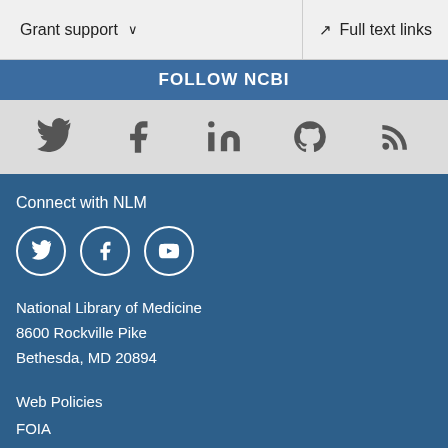Grant support
Full text links
FOLLOW NCBI
[Figure (infographic): Social media icons: Twitter, Facebook, LinkedIn, GitHub, RSS feed]
Connect with NLM
[Figure (infographic): NLM social media icons in circles: Twitter, Facebook, YouTube]
National Library of Medicine
8600 Rockville Pike
Bethesda, MD 20894
Web Policies
FOIA
HHS Vulnerability Disclosure